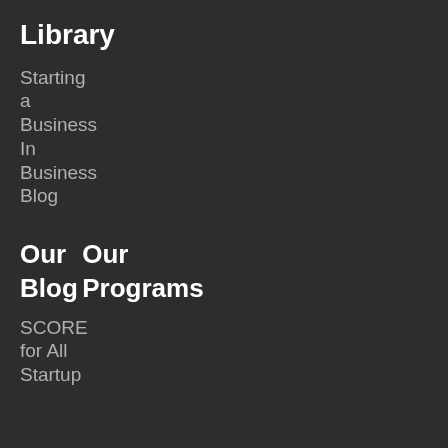Library
Starting
a
Business
In
Business
Blog
Our Blog
Our Programs
SCORE
for All
Startup